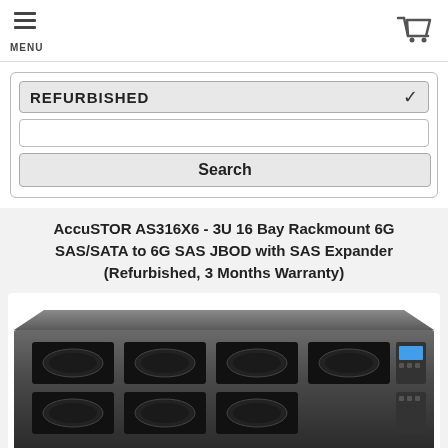MENU | [cart icon]
REFURBISHED (dropdown)
Search (button)
AccuSTOR AS316X6 - 3U 16 Bay Rackmount 6G SAS/SATA to 6G SAS JBOD with SAS Expander (Refurbished, 3 Months Warranty)
[Figure (photo): Photo of AccuSTOR AS316X6 3U rackmount storage enclosure, front view showing drive bays and LCD display panel]